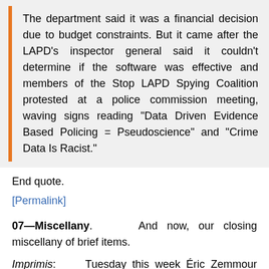The department said it was a financial decision due to budget constraints. But it came after the LAPD's inspector general said it couldn't determine if the software was effective and members of the Stop LAPD Spying Coalition protested at a police commission meeting, waving signs reading "Data Driven Evidence Based Policing = Pseudoscience" and "Crime Data Is Racist."
End quote.
[Permalink]
07—Miscellany. And now, our closing miscellany of brief items.
Imprimis: Tuesday this week Éric Zemmour announced that he will be a candidate for President of France in their election next April.